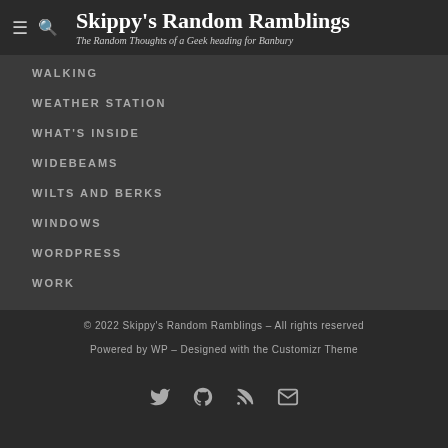Skippy's Random Ramblings – The Random Thoughts of a Geek heading for Banbury
WALKING
WEATHER STATION
WHAT'S INSIDE
WIDEBEAMS
WILTS AND BERKS
WINDOWS
WORDPRESS
WORK
© 2022 Skippy's Random Ramblings – All rights reserved
Powered by WP – Designed with the Customizr Theme